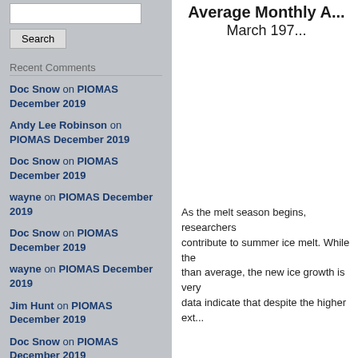Recent Comments
Doc Snow on PIOMAS December 2019
Andy Lee Robinson on PIOMAS December 2019
Doc Snow on PIOMAS December 2019
wayne on PIOMAS December 2019
Doc Snow on PIOMAS December 2019
wayne on PIOMAS December 2019
Jim Hunt on PIOMAS December 2019
Doc Snow on PIOMAS December 2019
Jim Hunt on PIOMAS December 2019
Average Monthly A... March 197...
As the melt season begins, researchers contribute to summer ice melt. While the than average, the new ice growth is very data indicate that despite the higher ext...